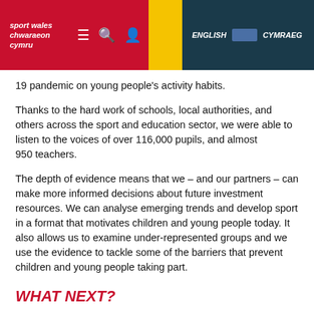sport wales chwaraeon cymru | ENGLISH | CYMRAEG
19 pandemic on young people's activity habits.
Thanks to the hard work of schools, local authorities, and others across the sport and education sector, we were able to listen to the voices of over 116,000 pupils, and almost 950 teachers.
The depth of evidence means that we – and our partners – can make more informed decisions about future investment resources. We can analyse emerging trends and develop sport in a format that motivates children and young people today. It also allows us to examine under-represented groups and we use the evidence to tackle some of the barriers that prevent children and young people taking part.
WHAT NEXT?